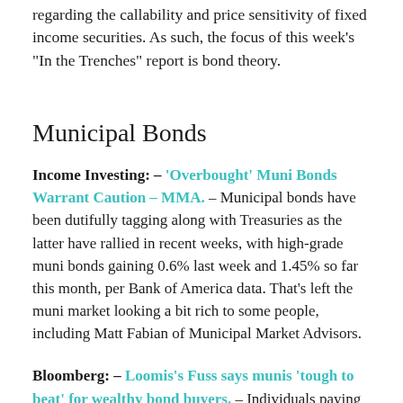regarding the callability and price sensitivity of fixed income securities. As such, the focus of this week's “In the Trenches” report is bond theory.
Municipal Bonds
Income Investing: – ‘Overbought’ Muni Bonds Warrant Caution – MMA. – Municipal bonds have been dutifully tagging along with Treasuries as the latter have rallied in recent weeks, with high-grade muni bonds gaining 0.6% last week and 1.45% so far this month, per Bank of America data. That’s left the muni market looking a bit rich to some people, including Matt Fabian of Municipal Market Advisors.
Bloomberg: – Loomis’s Fuss says munis ‘tough to beat’ for wealthy bond buyers. – Individuals paying the